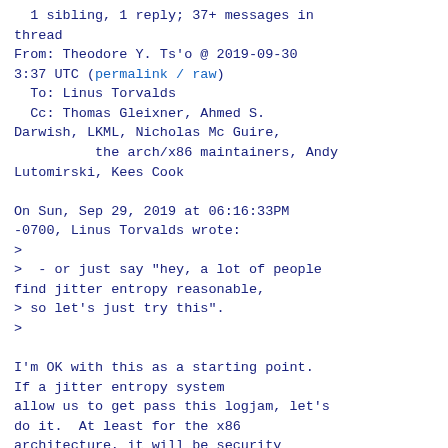1 sibling, 1 reply; 37+ messages in thread
From: Theodore Y. Ts'o @ 2019-09-30 3:37 UTC (permalink / raw)
  To: Linus Torvalds
  Cc: Thomas Gleixner, Ahmed S. Darwish, LKML, Nicholas Mc Guire,
        the arch/x86 maintainers, Andy Lutomirski, Kees Cook

On Sun, Sep 29, 2019 at 06:16:33PM -0700, Linus Torvalds wrote:
>
>  - or just say "hey, a lot of people find jitter entropy reasonable,
> so let's just try this".
>

I'm OK with this as a starting point. If a jitter entropy system
allow us to get pass this logjam, let's do it.  At least for the x86
architecture, it will be security through obscurity.  And if the
alternative is potentially failing where the adversary can attack the
CRNG, it's my preference.  It's certainly better than nothing.

That being said, I'd very much like to